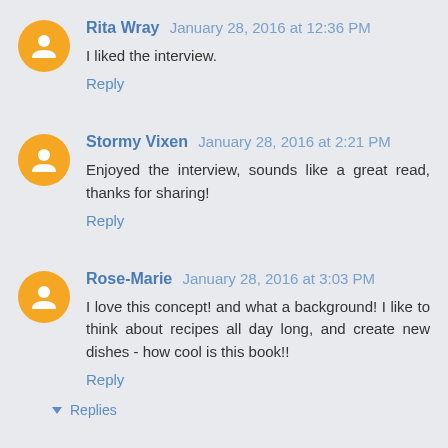Rita Wray January 28, 2016 at 12:36 PM
I liked the interview.
Reply
Stormy Vixen January 28, 2016 at 2:21 PM
Enjoyed the interview, sounds like a great read, thanks for sharing!
Reply
Rose-Marie January 28, 2016 at 3:03 PM
I love this concept! and what a background! I like to think about recipes all day long, and create new dishes - how cool is this book!!
Reply
Replies